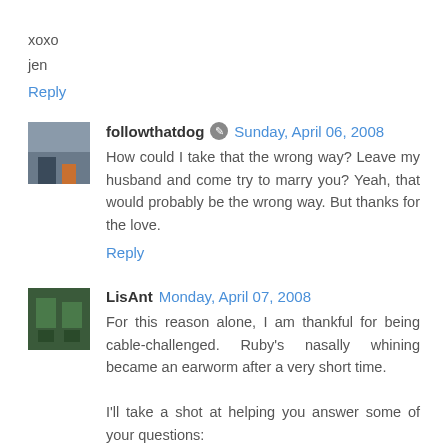xoxo
jen
Reply
followthatdog  Sunday, April 06, 2008
How could I take that the wrong way? Leave my husband and come try to marry you? Yeah, that would probably be the wrong way. But thanks for the love.
Reply
LisAnt  Monday, April 07, 2008
For this reason alone, I am thankful for being cable-challenged. Ruby's nasally whining became an earworm after a very short time.

I'll take a shot at helping you answer some of your questions: